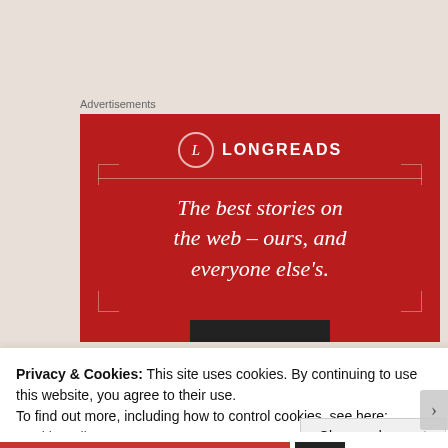Advertisements
[Figure (illustration): Longreads advertisement banner on red background with tagline: The best stories on the web – ours, and everyone else's.]
Privacy & Cookies: This site uses cookies. By continuing to use this website, you agree to their use.
To find out more, including how to control cookies, see here:
Cookie Policy
Close and accept